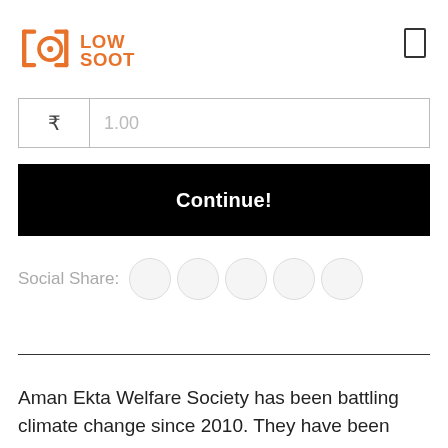[Figure (logo): Low Soot logo in orange with stylized bracket and circle icon]
[Figure (other): Hamburger menu icon (rectangle outline) in top right corner]
[Figure (other): Input field with rupee currency symbol on left and 1.00 placeholder amount]
Continue!
Social Share:
Aman Ekta Welfare Society has been battling climate change since 2010. They have been